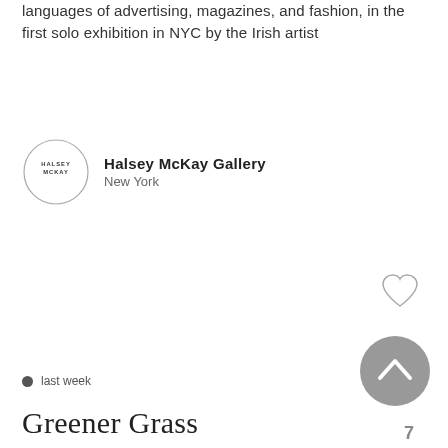languages of advertising, magazines, and fashion, in the first solo exhibition in NYC by the Irish artist
[Figure (logo): Halsey McKay Gallery circular logo with text HALSEY MCKAY]
Halsey McKay Gallery
New York
[Figure (illustration): Heart/favorite icon outline]
[Figure (illustration): Scroll-to-top circular button with upward chevron arrow, gray background]
last week
Greener Grass